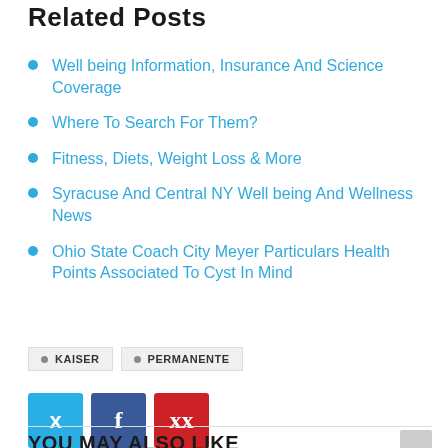Related Posts
Well being Information, Insurance And Science Coverage
Where To Search For Them?
Fitness, Diets, Weight Loss & More
Syracuse And Central NY Well being And Wellness News
Ohio State Coach City Meyer Particulars Health Points Associated To Cyst In Mind
KAISER   PERMANENTE
[Figure (other): Social share buttons: Twitter (blue), Facebook (dark blue), Pinterest (red)]
YOU MAY ALSO LIKE